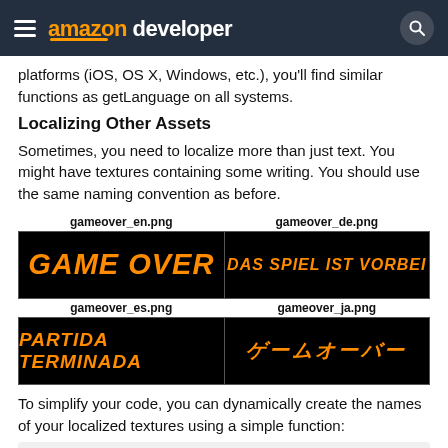amazon developer
platforms (iOS, OS X, Windows, etc.), you'll find similar functions as getLanguage on all systems.
Localizing Other Assets
Sometimes, you need to localize more than just text. You might have textures containing some writing. You should use the same naming convention as before.
[Figure (illustration): Four game-over screen images labeled gameover_en.png (GAME OVER in English), gameover_de.png (DAS SPIEL IST VORBEI in German), gameover_es.png (PARTIDA TERMINADA in Spanish), gameover_ja.png (Game Over in Japanese katakana), each showing orange stylized text on black background.]
To simplify your code, you can dynamically create the names of your localized textures using a simple function: